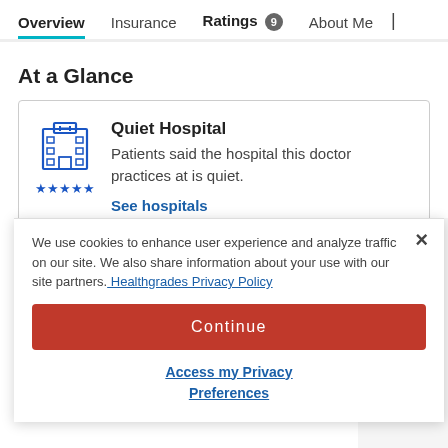Overview | Insurance | Ratings 9 | About Me |
At a Glance
Quiet Hospital
Patients said the hospital this doctor practices at is quiet.
See hospitals
We use cookies to enhance user experience and analyze traffic on our site. We also share information about your use with our site partners. Healthgrades Privacy Policy
Continue
Access my Privacy Preferences